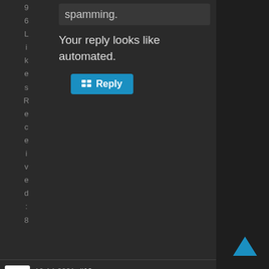9
6
L
i
k
e
s
R
e
c
e
i
v
e
d
:
8
spamming.
Your reply looks like automated.
Reply
10-14-2021, #10 05:47 AM
elena1
Your content should be unique and informative, which